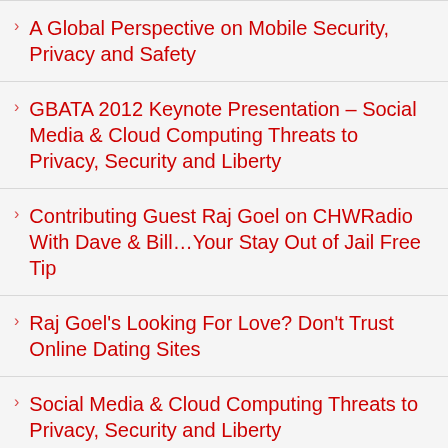A Global Perspective on Mobile Security, Privacy and Safety
GBATA 2012 Keynote Presentation – Social Media & Cloud Computing Threats to Privacy, Security and Liberty
Contributing Guest Raj Goel on CHWRadio With Dave & Bill…Your Stay Out of Jail Free Tip
Raj Goel's Looking For Love? Don't Trust Online Dating Sites
Social Media & Cloud Computing Threats to Privacy, Security and Liberty
Cyberhood Watch Interview – SOPA,